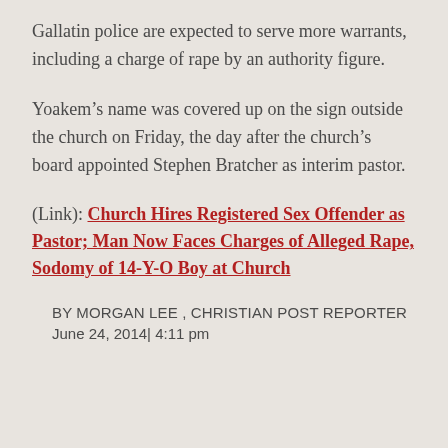Gallatin police are expected to serve more warrants, including a charge of rape by an authority figure.
Yoakem's name was covered up on the sign outside the church on Friday, the day after the church's board appointed Stephen Bratcher as interim pastor.
(Link): Church Hires Registered Sex Offender as Pastor; Man Now Faces Charges of Alleged Rape, Sodomy of 14-Y-O Boy at Church
BY MORGAN LEE , CHRISTIAN POST REPORTER
June 24, 2014| 4:11 pm